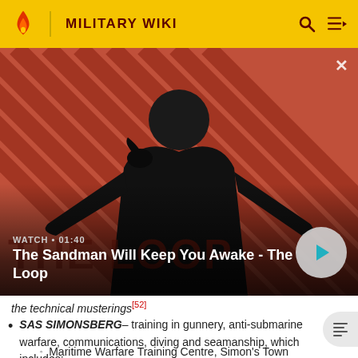MILITARY WIKI
[Figure (screenshot): Video thumbnail for 'The Sandman Will Keep You Awake - The Loop' with a dark-cloaked figure with a raven, red diagonal striped background. Shows WATCH • 01:40 label and a play button.]
The Sandman Will Keep You Awake - The Loop
the technical musterings[52]
SAS SIMONSBERG– training in gunnery, anti-submarine warfare, communications, diving and seamanship, which includes:
Maritime Warfare Training Centre, Simon's Town